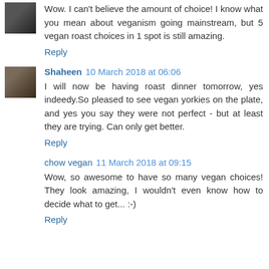Wow. I can't believe the amount of choice! I know what you mean about veganism going mainstream, but 5 vegan roast choices in 1 spot is still amazing.
Reply
Shaheen 10 March 2018 at 06:06
I will now be having roast dinner tomorrow, yes indeedy.So pleased to see vegan yorkies on the plate, and yes you say they were not perfect - but at least they are trying. Can only get better.
Reply
chow vegan 11 March 2018 at 09:15
Wow, so awesome to have so many vegan choices! They look amazing, I wouldn't even know how to decide what to get... :-)
Reply